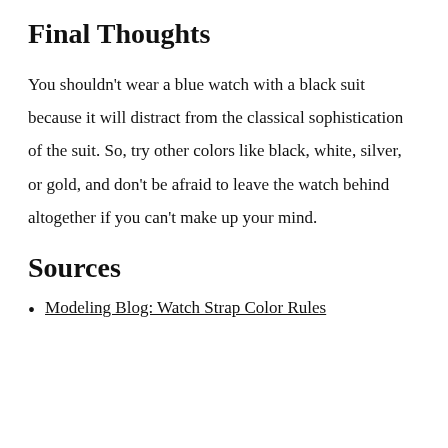Final Thoughts
You shouldn't wear a blue watch with a black suit because it will distract from the classical sophistication of the suit. So, try other colors like black, white, silver, or gold, and don't be afraid to leave the watch behind altogether if you can't make up your mind.
Sources
Modeling Blog: Watch Strap Color Rules